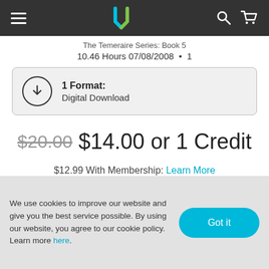Downpour header navigation bar
The Temeraire Series: Book 5
10.46 Hours 07/08/2008 • 1
1 Format:
Digital Download
$20.00 $14.00 or 1 Credit
$12.99 With Membership: Learn More
We use cookies to improve our website and give you the best service possible. By using our website, you agree to our cookie policy. Learn more here.